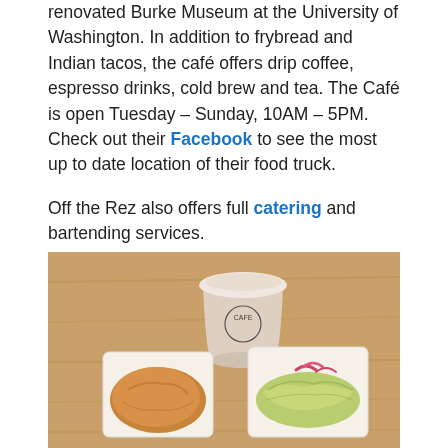renovated Burke Museum at the University of Washington. In addition to frybread and Indian tacos, the café offers drip coffee, espresso drinks, cold brew and tea. The Café is open Tuesday – Sunday, 10AM – 5PM. Check out their Facebook to see the most up to date location of their food truck.
Off the Rez also offers full catering and bartending services.
[Figure (photo): Photo of food from Off the Rez cafe: two items in white paper trays (frybread and an Indian taco with shredded lettuce and pickled red onions) alongside a branded paper cup with a Native American chief logo on a wooden table.]